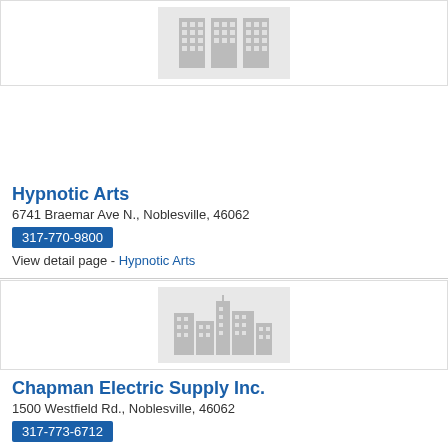[Figure (illustration): Placeholder business image showing gray building silhouette icons on light gray background]
Hypnotic Arts
6741 Braemar Ave N., Noblesville, 46062
317-770-9800
View detail page - Hypnotic Arts
[Figure (illustration): Placeholder business image showing gray city building silhouette icons on light gray background]
Chapman Electric Supply Inc.
1500 Westfield Rd., Noblesville, 46062
317-773-6712